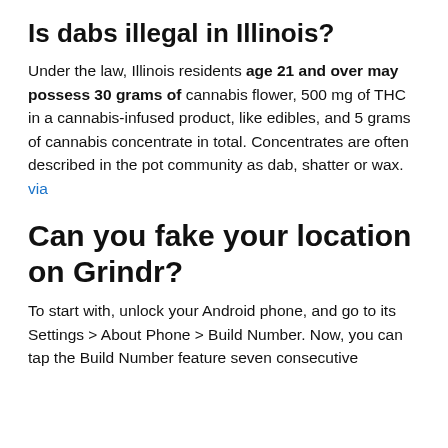Is dabs illegal in Illinois?
Under the law, Illinois residents age 21 and over may possess 30 grams of cannabis flower, 500 mg of THC in a cannabis-infused product, like edibles, and 5 grams of cannabis concentrate in total. Concentrates are often described in the pot community as dab, shatter or wax. via
Can you fake your location on Grindr?
To start with, unlock your Android phone, and go to its Settings > About Phone > Build Number. Now, you can tap the Build Number feature seven consecutive